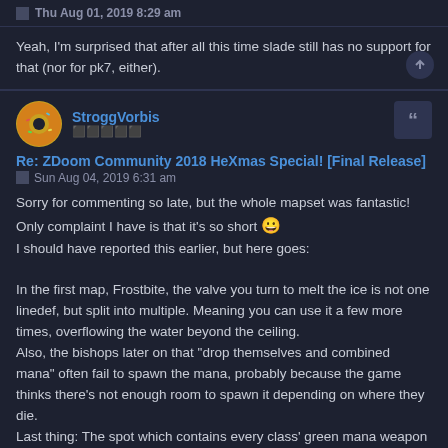Thu Aug 01, 2019 8:29 am
Yeah, I'm surprised that after all this time slade still has no support for that (nor for pk7, either).
StroggVorbis
Re: ZDoom Community 2018 HeXmas Special! [Final Release]
Sun Aug 04, 2019 6:31 am
Sorry for commenting so late, but the whole mapset was fantastic! Only complaint I have is that it's so short 😀 I should have reported this earlier, but here goes:

In the first map, Frostbite, the valve you turn to melt the ice is not one linedef, but split into multiple. Meaning you can use it a few more times, overflowing the water beyond the ceiling.
Also, the bishops later on that "drop themselves and combined mana" often fail to spawn the mana, probably because the game thinks there's not enough room to spawn it depending on where they die.
Last thing: The spot which contains every class' green mana weapon has the monster spawn script assigned to each of them. So in theory it's possible to spawn up to three times the amount of monsters if one waits for them to leave their spawnspots (I actually found this out by playing